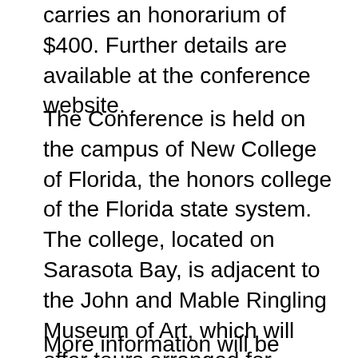carries an honorarium of $400. Further details are available at the conference website.
The Conference is held on the campus of New College of Florida, the honors college of the Florida state system. The college, located on Sarasota Bay, is adjacent to the John and Mable Ringling Museum of Art, which will offer tours arranged for conference participants. Sarasota is noted for its beautiful public beaches, theater, food, art and music. Average temperatures in March are a pleasant high of 77F (25C) and a low of 57F (14C).
More information will be posted on the conference website, with more available including the